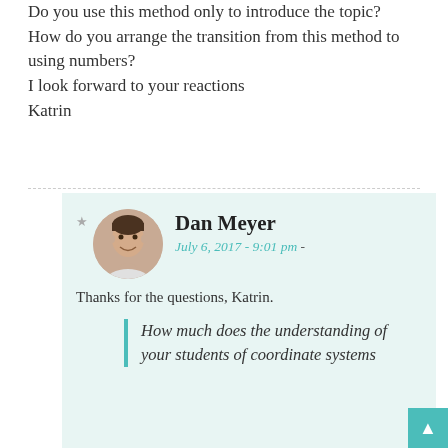Do you use this method only to introduce the topic? How do you arrange the transition from this method to using numbers? I look forward to your reactions Katrin
Dan Meyer
July 6, 2017 - 9:01 pm -
Thanks for the questions, Katrin.
How much does the understanding of your students of coordinate systems